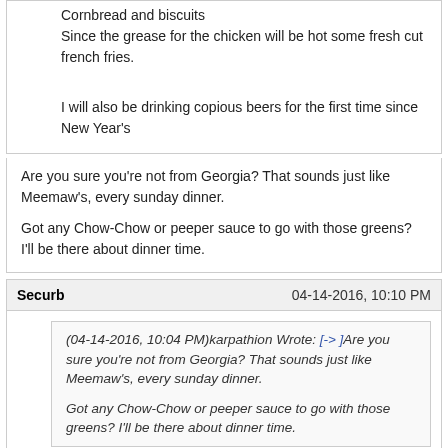Cornbread and biscuits
Since the grease for the chicken will be hot some fresh cut french fries.

I will also be drinking copious beers for the first time since New Year's
Are you sure you're not from Georgia? That sounds just like Meemaw's, every sunday dinner.

Got any Chow-Chow or peeper sauce to go with those greens? I'll be there about dinner time.
Securb
04-14-2016, 10:10 PM
(04-14-2016, 10:04 PM)karpathion Wrote: [-> ]Are you sure you're not from Georgia? That sounds just like Meemaw's, every sunday dinner.

Got any Chow-Chow or peeper sauce to go with those greens? I'll be there about dinner time.
Boston raised but the family has southern roots. Sauces are automatic. Various hot sauces, chicken gravy, and my homemade honey mustard sauce, my daughter won't touch chicken without it. You have an open invite anytime you want.